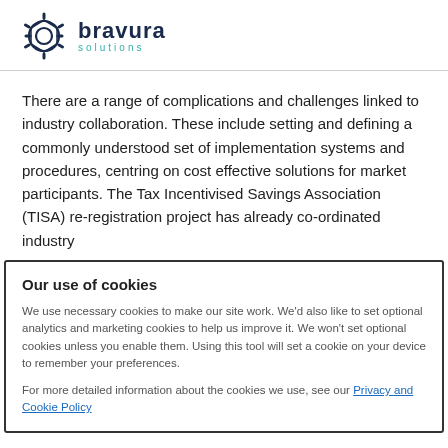[Figure (logo): Bravura Solutions logo with hexagonal gear icon and company name]
There are a range of complications and challenges linked to industry collaboration. These include setting and defining a commonly understood set of implementation systems and procedures, centring on cost effective solutions for market participants. The Tax Incentivised Savings Association (TISA) re-registration project has already co-ordinated industry
Our use of cookies
We use necessary cookies to make our site work. We'd also like to set optional analytics and marketing cookies to help us improve it. We won't set optional cookies unless you enable them. Using this tool will set a cookie on your device to remember your preferences.
For more detailed information about the cookies we use, see our Privacy and Cookie Policy